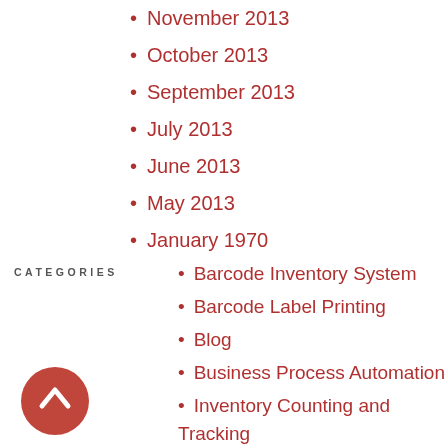November 2013
October 2013
September 2013
July 2013
June 2013
May 2013
January 1970
CATEGORIES
Barcode Inventory System
Barcode Label Printing
Blog
Business Process Automation
Inventory Counting and Tracking
Inventory Management
Manufacturing Automation
Mobile Field Service
Mobile Sales